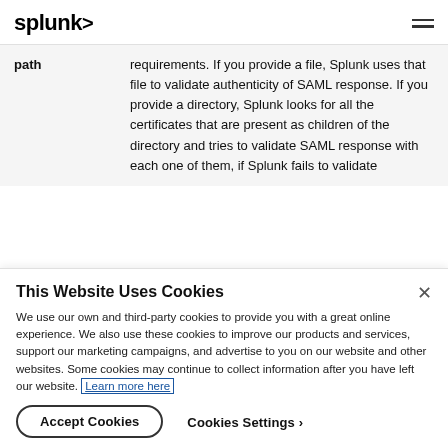splunk>
| path | requirements. If you provide a file, Splunk uses that file to validate authenticity of SAML response. If you provide a directory, Splunk looks for all the certificates that are present as children of the directory and tries to validate SAML response with each one of them, if Splunk fails to validate |
This Website Uses Cookies
We use our own and third-party cookies to provide you with a great online experience. We also use these cookies to improve our products and services, support our marketing campaigns, and advertise to you on our website and other websites. Some cookies may continue to collect information after you have left our website. Learn more here
Accept Cookies
Cookies Settings ›